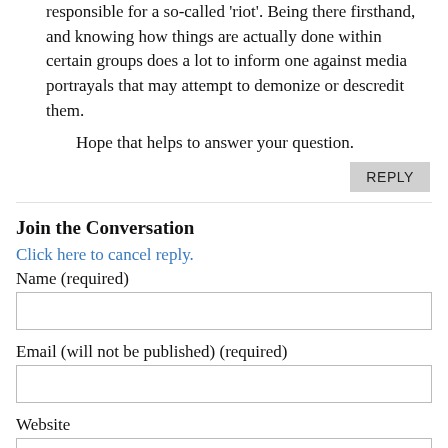responsible for a so-called 'riot'. Being there firsthand, and knowing how things are actually done within certain groups does a lot to inform one against media portrayals that may attempt to demonize or descredit them.
    Hope that helps to answer your question.
REPLY
Join the Conversation
Click here to cancel reply.
Name (required)
Email (will not be published) (required)
Website